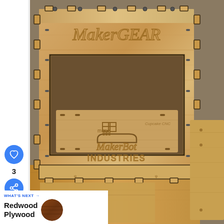[Figure (photo): Photograph of a laser-cut plywood enclosure with 'MakerGEAR' engraved on the top front panel and 'MakerBot Industries' with a stylized 'm' logo on the interior bottom panel. The box structure has finger-joint tabs, screws, and slots. Below the box is additional plywood with a green stamp mark visible. To the right is a loose plywood panel. The image has a white left strip with social UI elements overlaid.]
3
WHAT'S NEXT → Redwood Plywood